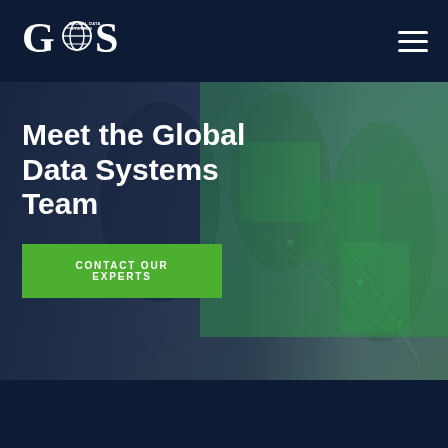Global Data Systems navigation bar with logo and hamburger menu
[Figure (logo): Global Data Systems (GDS) logo — white letters GDS with globe icon on dark navy background]
Meet the Global Data Systems Team
[Figure (photo): Hero background image showing office workers in a blurred setting with dark navy overlay on the left and green tinted overlay on the right]
CONTACT OUR EXPERTS
Dark navy footer bar